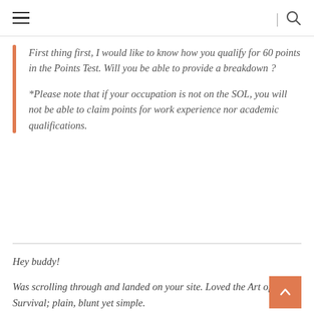≡  |  🔍
First thing first, I would like to know how you qualify for 60 points in the Points Test. Will you be able to provide a breakdown ?

*Please note that if your occupation is not on the SOL, you will not be able to claim points for work experience nor academic qualifications.
Hey buddy!

Was scrolling through and landed on your site. Loved the Art of Survival; plain, blunt yet simple.

I'm a local Sporean dude and just got my PR. Currently workin on contract job and planning to move down